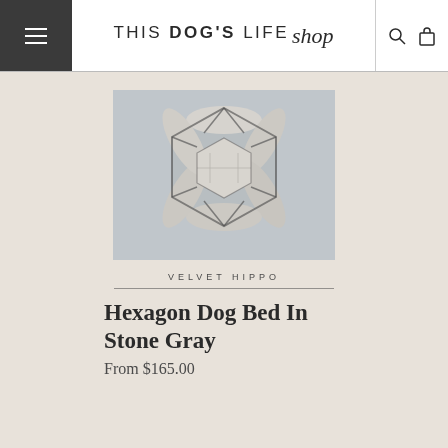THIS DOG'S LIFE shop
[Figure (photo): Overhead view of a hexagon-shaped dog bed in stone gray/light beige velvet fabric, photographed from above on a light gray background. The bed has raised bolster sides and a flat center cushion.]
VELVET HIPPO
Hexagon Dog Bed In Stone Gray
From $165.00